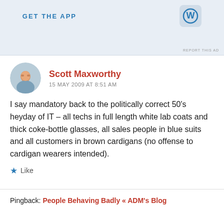[Figure (screenshot): Advertisement banner with 'GET THE APP' text and WordPress logo icon on light blue background]
REPORT THIS AD
Scott Maxworthy
15 MAY 2009 AT 8:51 AM
I say mandatory back to the politically correct 50’s heyday of IT – all techs in full length white lab coats and thick coke-bottle glasses, all sales people in blue suits and all customers in brown cardigans (no offense to cardigan wearers intended).
Like
Pingback: People Behaving Badly « ADM’s Blog